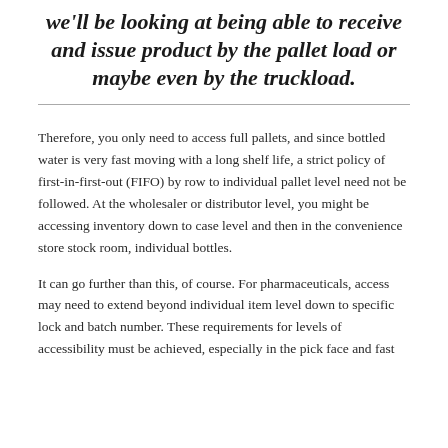we'll be looking at being able to receive and issue product by the pallet load or maybe even by the truckload.
Therefore, you only need to access full pallets, and since bottled water is very fast moving with a long shelf life, a strict policy of first-in-first-out (FIFO) by row to individual pallet level need not be followed. At the wholesaler or distributor level, you might be accessing inventory down to case level and then in the convenience store stock room, individual bottles.
It can go further than this, of course. For pharmaceuticals, access may need to extend beyond individual item level down to specific lock and batch number. These requirements for levels of accessibility must be achieved, especially in the pick face and fast